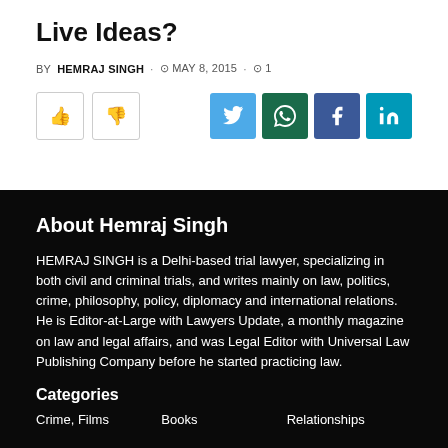Live Ideas?
BY HEMRAJ SINGH · MAY 8, 2015 · 1
[Figure (infographic): Vote buttons (thumbs up, thumbs down) and social share buttons for Twitter, WhatsApp, Facebook, LinkedIn]
About Hemraj Singh
HEMRAJ SINGH is a Delhi-based trial lawyer, specializing in both civil and criminal trials, and writes mainly on law, politics, crime, philosophy, policy, diplomacy and international relations. He is Editor-at-Large with Lawyers Update, a monthly magazine on law and legal affairs, and was Legal Editor with Universal Law Publishing Company before he started practicing law.
Categories
Crime, Films    Books    Relationships